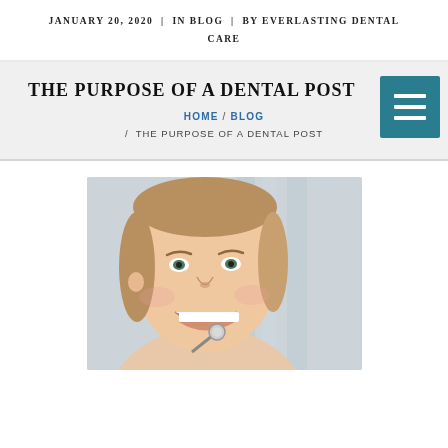JANUARY 20, 2020 | IN BLOG | BY EVERLASTING DENTAL CARE
THE PURPOSE OF A DENTAL POST
HOME / BLOG / THE PURPOSE OF A DENTAL POST
[Figure (photo): A smiling young woman at the dentist, mouth open, with a dental mirror instrument visible near her chin. She has blonde hair pulled back and appears happy.]